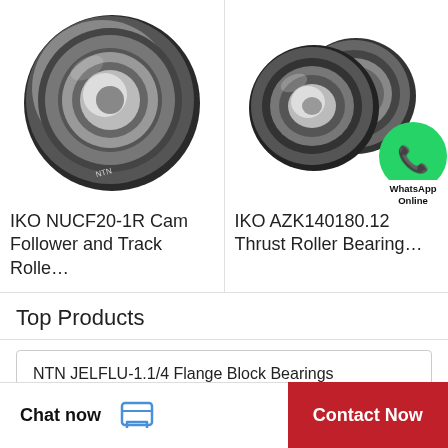[Figure (photo): Photo of IKO NUCF20-1R Cam Follower and Track Roller bearing - single metallic bearing with shielded design on white background]
IKO NUCF20-1R Cam Follower and Track Rolle…
[Figure (photo): Photo of IKO AZK140180.12 Thrust Roller Bearings - two small metallic ball bearings on white background, with WhatsApp Online overlay icon]
IKO AZK140180.12 Thrust Roller Bearing…
Top Products
NTN JELFLU-1.1/4 Flange Block Bearings
IKO AZK140180.12 Thrust Roller Bearing…
Chat now
Contact Now